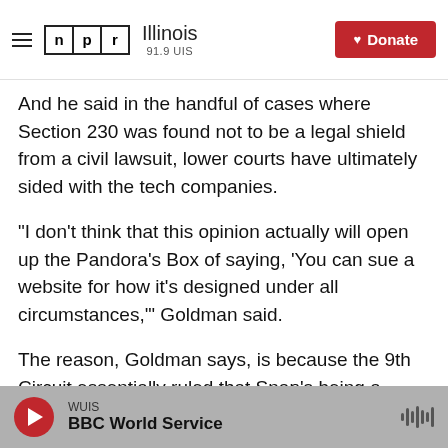NPR Illinois 91.9 UIS | Donate
And he said in the handful of cases where Section 230 was found not to be a legal shield from a civil lawsuit, lower courts have ultimately sided with the tech companies.
"I don't think that this opinion actually will open up the Pandora's Box of saying, 'You can sue a website for how it's designed under all circumstances,'" Goldman said.
The reason, Goldman says, is because the 9th Circuit essentially ruled that Snap's being a publisher was not as relevant as the allegation that the messaging app motivated harmful activity.
WUIS | BBC World Service